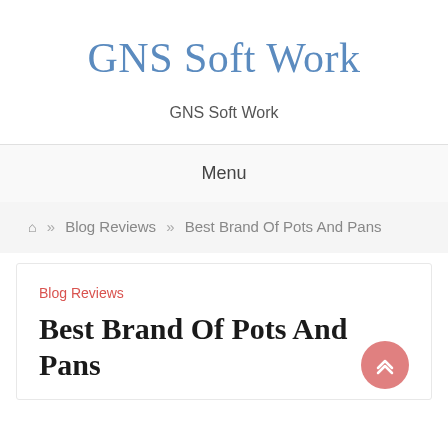GNS Soft Work
GNS Soft Work
Menu
Home » Blog Reviews » Best Brand Of Pots And Pans
Blog Reviews
Best Brand Of Pots And Pans